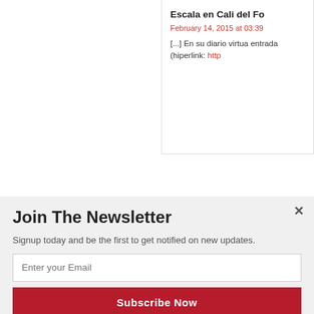Escala en Cali del Fo
February 14, 2015 at 03:3
[...] En su diario virtua entrada (hiperlink: http
Name (required)
Mail (required)
Join The Newsletter
Signup today and be the first to get notified on new updates.
Enter your Email
Subscribe Now